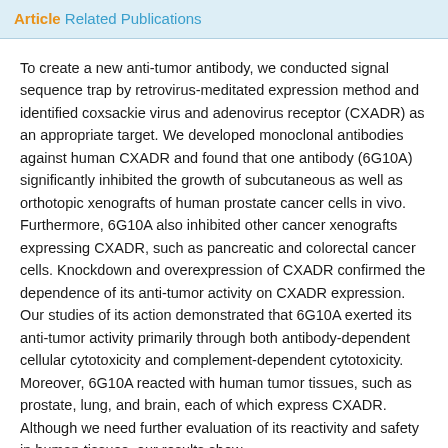Article Related Publications
To create a new anti-tumor antibody, we conducted signal sequence trap by retrovirus-meditated expression method and identified coxsackie virus and adenovirus receptor (CXADR) as an appropriate target. We developed monoclonal antibodies against human CXADR and found that one antibody (6G10A) significantly inhibited the growth of subcutaneous as well as orthotopic xenografts of human prostate cancer cells in vivo. Furthermore, 6G10A also inhibited other cancer xenografts expressing CXADR, such as pancreatic and colorectal cancer cells. Knockdown and overexpression of CXADR confirmed the dependence of its anti-tumor activity on CXADR expression. Our studies of its action demonstrated that 6G10A exerted its anti-tumor activity primarily through both antibody-dependent cellular cytotoxicity and complement-dependent cytotoxicity. Moreover, 6G10A reacted with human tumor tissues, such as prostate, lung, and brain, each of which express CXADR. Although we need further evaluation of its reactivity and safety in human tissues, our results show